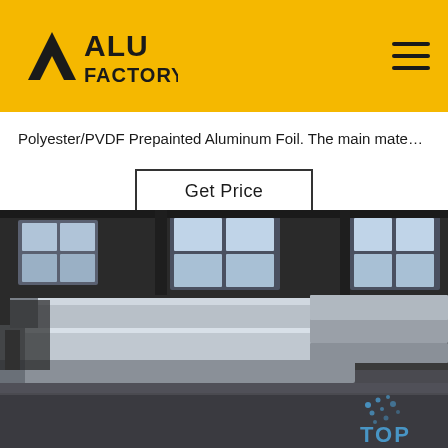[Figure (logo): ALU FACTORY logo — dark triangular A mark with 'ALU FACTORY' bold text in dark color, on yellow/gold background header bar]
Polyester/PVDF Prepainted Aluminum Foil. The main mate…
Get Price
[Figure (photo): Industrial factory interior showing large stacked aluminum billets/ingots on a concrete floor, with warehouse windows in the background and a 'TOP' watermark logo in the lower right corner]